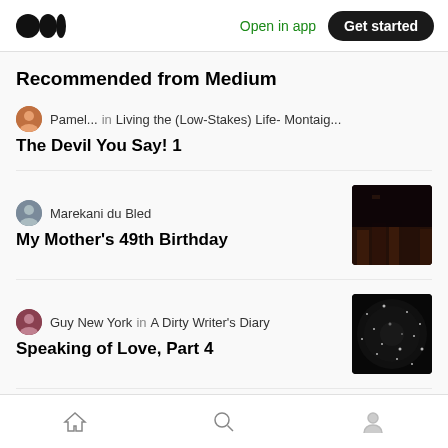Medium logo | Open in app | Get started
Recommended from Medium
Pamel... in Living the (Low-Stakes) Life- Montaig... — The Devil You Say! 1
Marekani du Bled — My Mother's 49th Birthday
Guy New York in A Dirty Writer's Diary — Speaking of Love, Part 4
Jane Taylor in Mom Of 13 (partially visible)
Home | Search | Profile